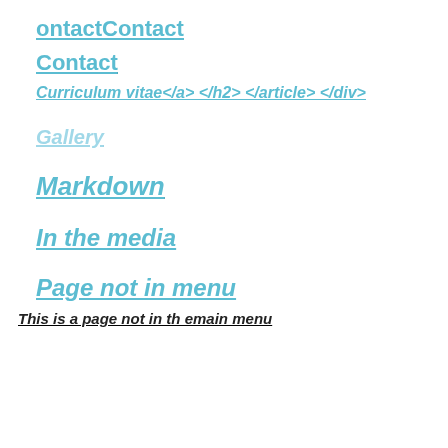Contact
Curriculum vitae</a> </h2> </article> </div>
Gallery
Markdown
In the media
Page not in menu
This is a page not in th emain menu